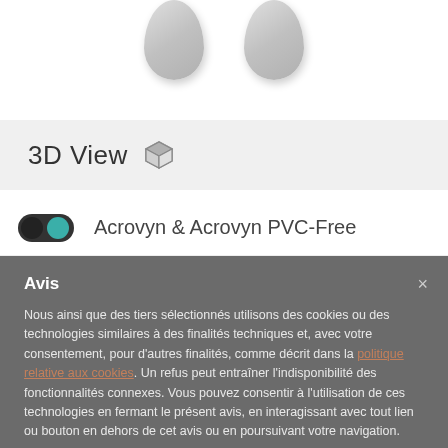[Figure (photo): Two gray pill/capsule shaped 3D objects shown from above against white background]
3D View
Acrovyn & Acrovyn PVC-Free
Avis
Nous ainsi que des tiers sélectionnés utilisons des cookies ou des technologies similaires à des finalités techniques et, avec votre consentement, pour d'autres finalités, comme décrit dans la politique relative aux cookies. Un refus peut entraîner l'indisponibilité des fonctionnalités connexes. Vous pouvez consentir à l'utilisation de ces technologies en fermant le présent avis, en interagissant avec tout lien ou bouton en dehors de cet avis ou en poursuivant votre navigation.